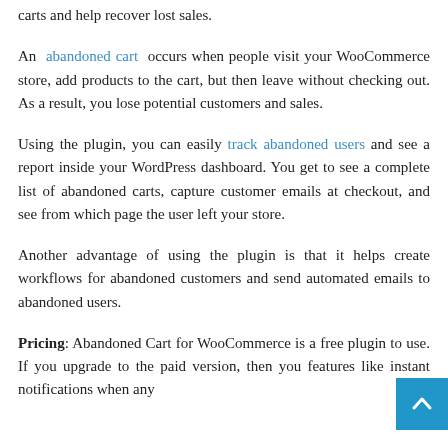carts and help recover lost sales.

An abandoned cart occurs when people visit your WooCommerce store, add products to the cart, but then leave without checking out. As a result, you lose potential customers and sales.

Using the plugin, you can easily track abandoned users and see a report inside your WordPress dashboard. You get to see a complete list of abandoned carts, capture customer emails at checkout, and see from which page the user left your store.

Another advantage of using the plugin is that it helps create workflows for abandoned customers and send automated emails to abandoned users.

Pricing: Abandoned Cart for WooCommerce is a free plugin to use. If you upgrade to the paid version, then you features like instant notifications when any